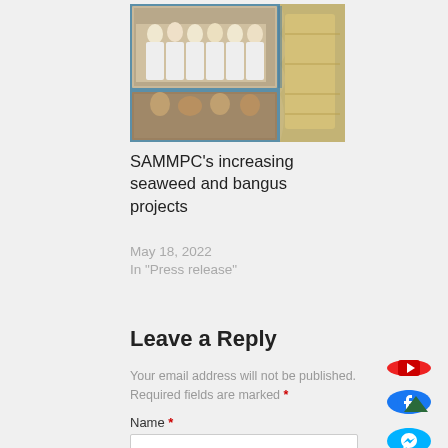[Figure (photo): Thumbnail image showing people and decorative/event scene, from SAMMPC article]
SAMMPC's increasing seaweed and bangus projects
May 18, 2022
In "Press release"
Leave a Reply
Your email address will not be published. Required fields are marked *
Name *
Email *